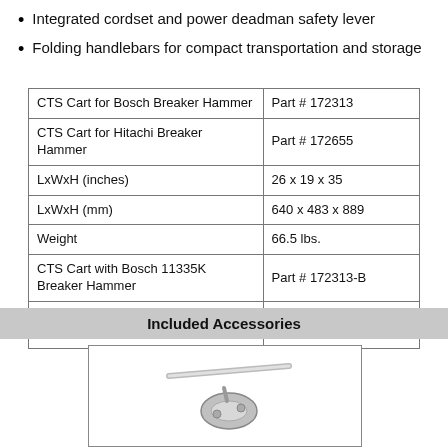Integrated cordset and power deadman safety lever
Folding handlebars for compact transportation and storage
| CTS Cart for Bosch Breaker Hammer | Part # 172313 |
| CTS Cart for Hitachi Breaker Hammer | Part # 172655 |
| LxWxH (inches) | 26 x 19 x 35 |
| LxWxH (mm) | 640 x 483 x 889 |
| Weight | 66.5 lbs. |
| CTS Cart with Bosch 11335K Breaker Hammer | Part # 172313-B |
| CTS Cart with Hitachi H65SD Breaker Hammer | Part # 172655-H |
Included Accessories
[Figure (photo): Photo of an accessory item, appears to be a metallic handle or clamp tool shown at an angle against white background]